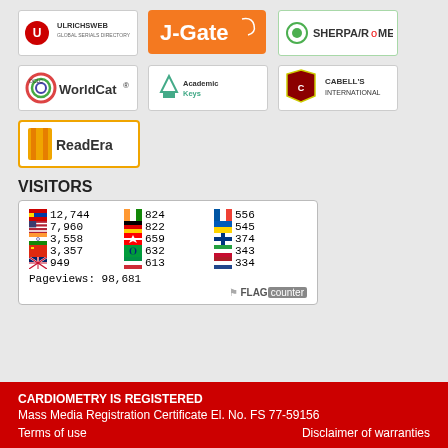[Figure (logo): UlrichsWeb Global Serials Directory logo]
[Figure (logo): J-Gate logo with orange background]
[Figure (logo): SHERPA/RoMEO logo with green border]
[Figure (logo): OCLC WorldCat logo]
[Figure (logo): AcademicKeys logo]
[Figure (logo): Cabell's International logo]
[Figure (logo): ReadEra logo with orange border]
VISITORS
[Figure (infographic): Flag counter widget showing visitor counts by country. Russia 12,744; USA 7,960; India 3,558; China 3,357; UK 949; India 824; Germany 822; Canada 659; Brazil 632; Italy 613; France 556; Ukraine 545; Finland 374; Iran 343; Netherlands 334. Pageviews: 98,681]
CARDIOMETRY IS REGISTERED
Mass Media Registration Certificate El. No. FS 77-59156
Terms of use     Disclaimer of warranties